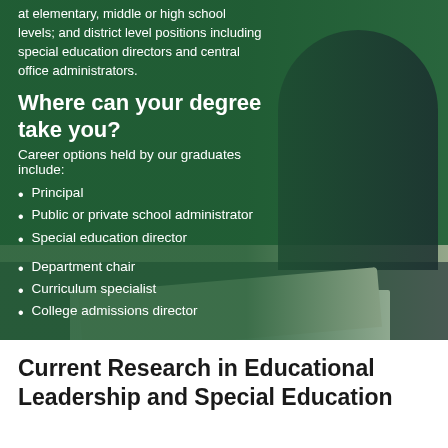at elementary, middle or high school levels; and district level positions including special education directors and central office administrators.
Where can your degree take you?
Career options held by our graduates include:
Principal
Public or private school administrator
Special education director
Department chair
Curriculum specialist
College admissions director
[Figure (photo): A person in dark clothing standing in front of a green chalkboard with an open book in the foreground]
Current Research in Educational Leadership and Special Education